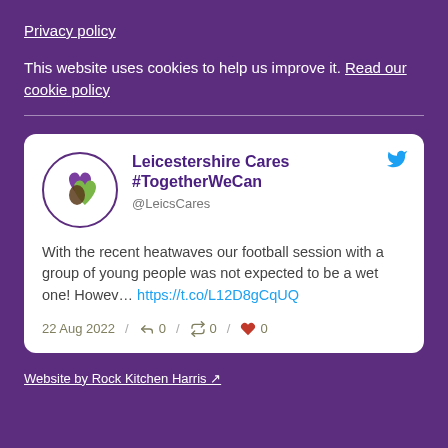Privacy policy
This website uses cookies to help us improve it. Read our cookie policy
[Figure (screenshot): Embedded tweet from Leicestershire Cares #TogetherWeCan (@LeicsCares) dated 22 Aug 2022 with text: 'With the recent heatwaves our football session with a group of young people was not expected to be a wet one! Howev… https://t.co/L12D8gCqUQ' and reply/retweet/like counts all 0.]
Website by Rock Kitchen Harris